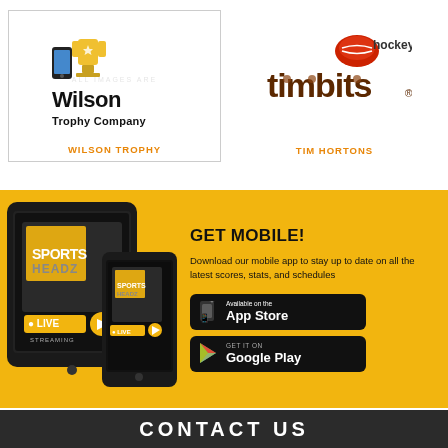[Figure (logo): Wilson Trophy Company logo with trophy icon]
WILSON TROPHY
[Figure (logo): Hockey Timbits logo with hockey puck icon]
TIM HORTONS
[Figure (illustration): Tablet and smartphone showing SportsHeadz app with live streaming]
GET MOBILE!
Download our mobile app to stay up to date on all the latest scores, stats, and schedules
[Figure (logo): Available on the App Store button]
[Figure (logo): GET IT ON Google Play button]
CONTACT US